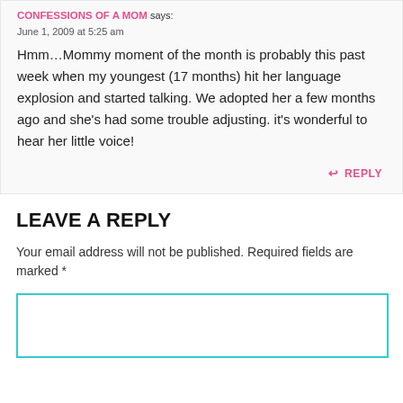CONFESSIONS OF A MOM SAYS:
June 1, 2009 at 5:25 am
Hmm…Mommy moment of the month is probably this past week when my youngest (17 months) hit her language explosion and started talking. We adopted her a few months ago and she's had some trouble adjusting. it's wonderful to hear her little voice!
↩ REPLY
LEAVE A REPLY
Your email address will not be published. Required fields are marked *